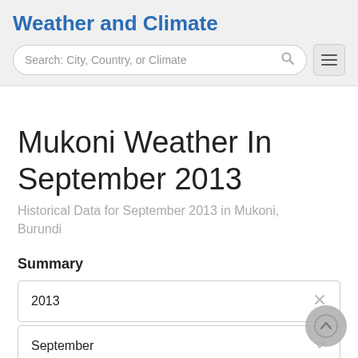Weather and Climate
Mukoni Weather In September 2013
Historical Data for September 2013 in Mukoni, Burundi
Summary
2013
September